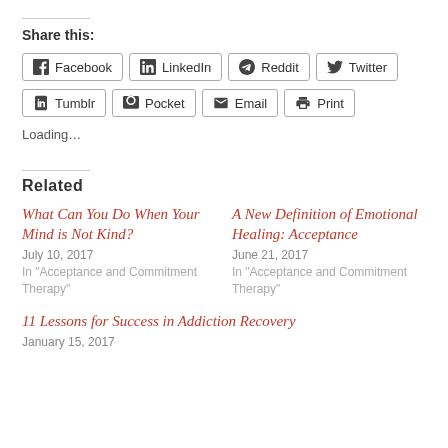Share this:
Facebook | LinkedIn | Reddit | Twitter | Tumblr | Pocket | Email | Print
Loading…
Related
What Can You Do When Your Mind is Not Kind?
July 10, 2017
In "Acceptance and Commitment Therapy"
A New Definition of Emotional Healing: Acceptance
June 21, 2017
In "Acceptance and Commitment Therapy"
11 Lessons for Success in Addiction Recovery
January 15, 2017